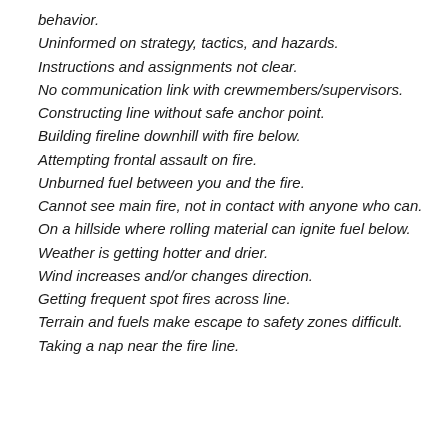behavior.
Uninformed on strategy, tactics, and hazards.
Instructions and assignments not clear.
No communication link with crewmembers/supervisors.
Constructing line without safe anchor point.
Building fireline downhill with fire below.
Attempting frontal assault on fire.
Unburned fuel between you and the fire.
Cannot see main fire, not in contact with anyone who can.
On a hillside where rolling material can ignite fuel below.
Weather is getting hotter and drier.
Wind increases and/or changes direction.
Getting frequent spot fires across line.
Terrain and fuels make escape to safety zones difficult.
Taking a nap near the fire line.